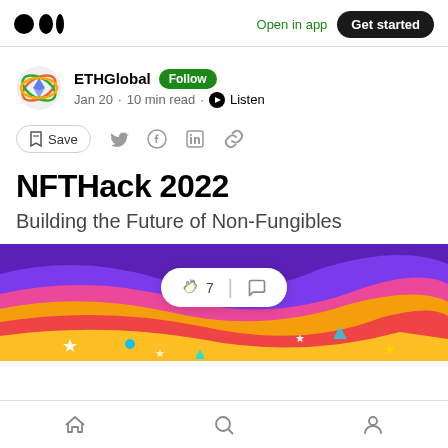Medium logo | Open in app | Get started
ETHGlobal Follow
Jan 20 · 10 min read · Listen
Save (social share icons)
NFTHack 2022
Building the Future of Non-Fungibles
[Figure (illustration): Colorful wavy abstract hero image in purple, pink, yellow, red with sparkles and geometric shapes. Floating reaction bar showing clap icon with 7 and comment icon.]
Home | Search | Profile (navigation icons)